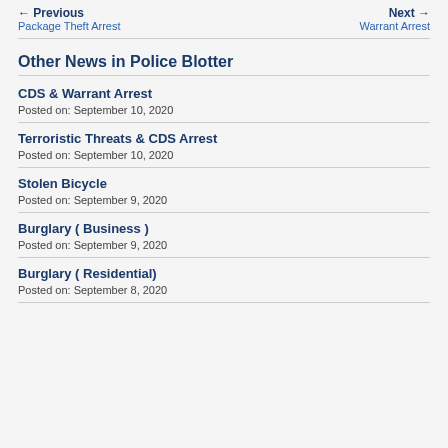← Previous
Package Theft Arrest
Next →
Warrant Arrest
Other News in Police Blotter
CDS & Warrant Arrest
Posted on: September 10, 2020
Terroristic Threats & CDS Arrest
Posted on: September 10, 2020
Stolen Bicycle
Posted on: September 9, 2020
Burglary ( Business )
Posted on: September 9, 2020
Burglary ( Residential)
Posted on: September 8, 2020